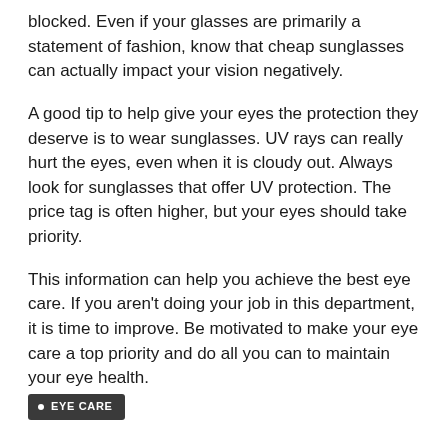blocked. Even if your glasses are primarily a statement of fashion, know that cheap sunglasses can actually impact your vision negatively.
A good tip to help give your eyes the protection they deserve is to wear sunglasses. UV rays can really hurt the eyes, even when it is cloudy out. Always look for sunglasses that offer UV protection. The price tag is often higher, but your eyes should take priority.
This information can help you achieve the best eye care. If you aren’t doing your job in this department, it is time to improve. Be motivated to make your eye care a top priority and do all you can to maintain your eye health.
EYE CARE